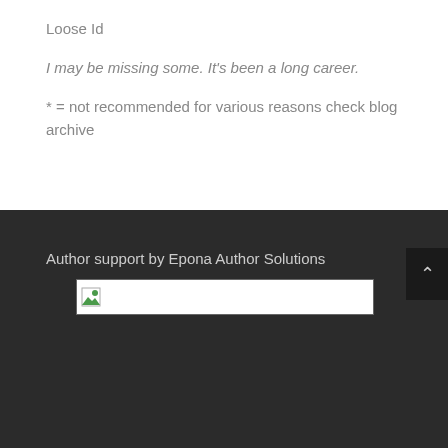Loose Id
I may be missing some. It's been a long career.
* = not recommended for various reasons check blog archive
Author support by Epona Author Solutions
[Figure (other): Broken image placeholder for Epona Author Solutions logo/banner]